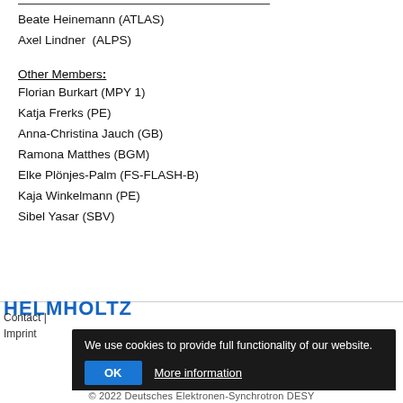Beate Heinemann (ATLAS)
Axel Lindner  (ALPS)
Other Members:
Florian Burkart (MPY 1)
Katja Frerks (PE)
Anna-Christina Jauch (GB)
Ramona Matthes (BGM)
Elke Plönjes-Palm (FS-FLASH-B)
Kaja Winkelmann (PE)
Sibel Yasar (SBV)
HELMHOLTZ | Contact | Imprint | © 2022 Deutsches Elektronen-Synchrotron DESY
We use cookies to provide full functionality of our website. OK More information